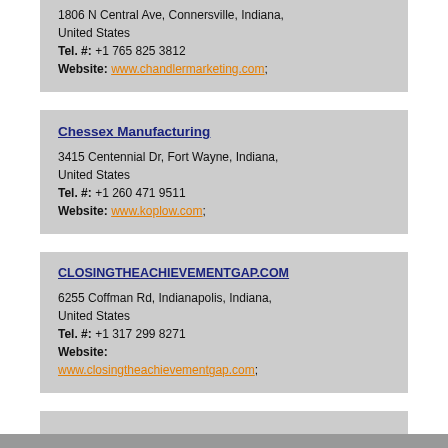1806 N Central Ave, Connersville, Indiana, United States
Tel. #: +1 765 825 3812
Website: www.chandlermarketing.com;
Chessex Manufacturing
3415 Centennial Dr, Fort Wayne, Indiana, United States
Tel. #: +1 260 471 9511
Website: www.koplow.com;
CLOSINGTHEACHIEVEMENTGAP.COM
6255 Coffman Rd, Indianapolis, Indiana, United States
Tel. #: +1 317 299 8271
Website: www.closingtheachievementgap.com;